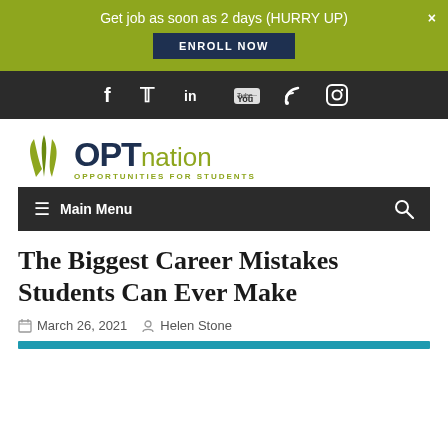Get job as soon as 2 days (HURRY UP) ENROLL NOW
[Figure (logo): Social media icons bar: Facebook, Twitter, LinkedIn, YouTube, RSS, Instagram on dark background]
[Figure (logo): OPTnation logo with green leaf graphic, text OPT in dark blue, nation in olive green, tagline OPPORTUNITIES FOR STUDENTS]
Main Menu
The Biggest Career Mistakes Students Can Ever Make
March 26, 2021  Helen Stone